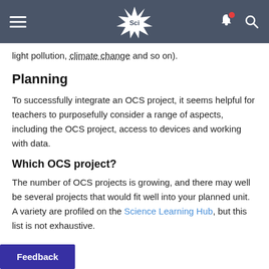Sci (Science Learning Hub navigation bar)
light pollution, climate change and so on).
Planning
To successfully integrate an OCS project, it seems helpful for teachers to purposefully consider a range of aspects, including the OCS project, access to devices and working with data.
Which OCS project?
The number of OCS projects is growing, and there may well be several projects that would fit well into your planned unit. A variety are profiled on the Science Learning Hub, but this list is not exhaustive.